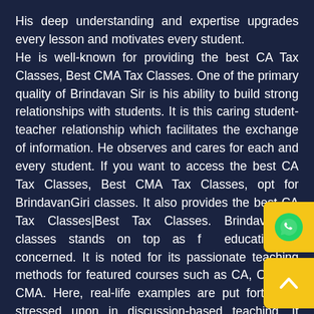His deep understanding and expertise upgrades every lesson and motivates every student. He is well-known for providing the best CA Tax Classes, Best CMA Tax Classes. One of the primary quality of Brindavan Sir is his ability to build strong relationships with students. It is this caring student-teacher relationship which facilitates the exchange of information. He observes and cares for each and every student. If you want to access the best CA Tax Classes, Best CMA Tax Classes, opt for BrindavanGiri classes. It also provides the best CA Tax Classes|Best Tax Classes. BrindavanGiri classes stands on top as far education is concerned. It is noted for its passionate teaching methods for featured courses such as CA, CS and CMA. Here, real-life examples are put forth and stressed upon in discussion-based teaching. It provides the finest study material as compared to other CA coaching institutes. Question bank is solved in class and outstanding support is provided to students regarding subject matter such as doubt clearing facility.
[Figure (logo): WhatsApp icon button (yellow background, green WhatsApp logo)]
[Figure (other): Scroll-to-top button (yellow background, white upward chevron arrow)]